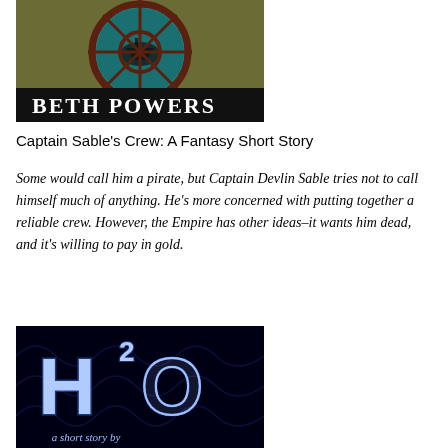[Figure (illustration): Book cover image for 'Captain Sable's Crew' by Beth Powers showing a ship's wheel over a teal/green background with 'BETH POWERS' text at the bottom in white serif font on dark background]
Captain Sable's Crew: A Fantasy Short Story
Some would call him a pirate, but Captain Devlin Sable tries not to call himself much of anything. He's more concerned with putting together a reliable crew. However, the Empire has other ideas–it wants him dead, and it's willing to pay in gold.
[Figure (illustration): Book cover image showing 'H2O a short story by' text in glowing blue neon style letters on a dark background with fractal patterns]